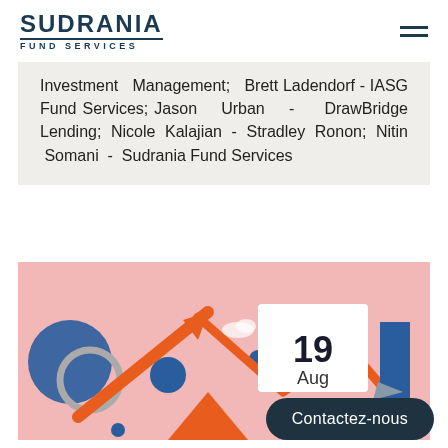SUDRANIA FUND SERVICES
Investment Management; Brett Ladendorf - IASG Fund Services; Jason Urban - DrawBridge Lending; Nicole Kalajian - Stradley Ronon; Nitin Somani - Sudrania Fund Services
[Figure (illustration): Colorful abstract financial illustration with orange arrows (up and down zigzag), blue circles and geometric shapes on a pink/salmon background. A white date card overlay shows '19 Aug'.]
Contactez-nous